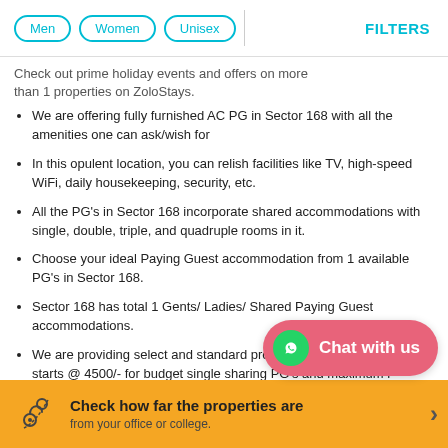Men  Women  Unisex  FILTERS
Check out prime holiday events and offers on more than 1 properties on ZoloStays.
We are offering fully furnished AC PG in Sector 168 with all the amenities one can ask/wish for
In this opulent location, you can relish facilities like TV, high-speed WiFi, daily housekeeping, security, etc.
All the PG's in Sector 168 incorporate shared accommodations with single, double, triple, and quadruple rooms in it.
Choose your ideal Paying Guest accommodation from 1 available PG's in Sector 168.
Sector 168 has total 1 Gents/ Ladies/ Shared Paying Guest accommodations.
We are providing select and standard properties where minimum rent starts @ 4500/- for budget single sharing PG's and maximum r...
Dwell in comfort as you step... sharing PG and live a hassle-free life
Chat with us
Check how far the properties are from your office or college.